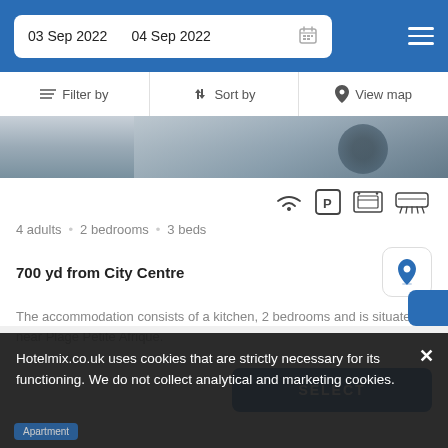03 Sep 2022   04 Sep 2022
Filter by   Sort by   View map
[Figure (photo): Partial view of hotel room bed with pillow]
4 adults  •  2 bedrooms  •  3 beds
700 yd from City Centre
The accommodation consists of a kitchen, 2 bedrooms and is situated near Plage Petite Afrique.
SELECT
Hotelmix.co.uk uses cookies that are strictly necessary for its functioning. We do not collect analytical and marketing cookies.
Apartment